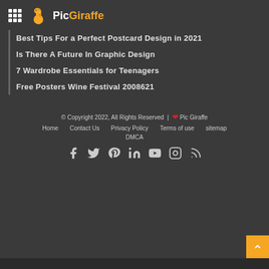PicGiraffe
Best Tips For a Perfect Postcard Design in 2021
Is There A Future In Graphic Design
7 Wardrobe Essentials for Teenagers
Free Posters Wine Festival 2008621
© Copyright 2022, All Rights Reserved | ❤ Pic Giraffe
Home | Contact Us | Privacy Policy | Terms of use | sitemap
DMCA